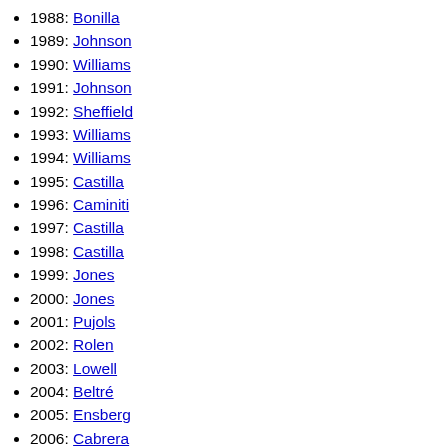1988: Bonilla
1989: Johnson
1990: Williams
1991: Johnson
1992: Sheffield
1993: Williams
1994: Williams
1995: Castilla
1996: Caminiti
1997: Castilla
1998: Castilla
1999: Jones
2000: Jones
2001: Pujols
2002: Rolen
2003: Lowell
2004: Beltré
2005: Ensberg
2006: Cabrera
2007: Wright
2008: Wright
2009: Zimmerman
2010: Zimmerman
2011: Ramírez
2012: Headley